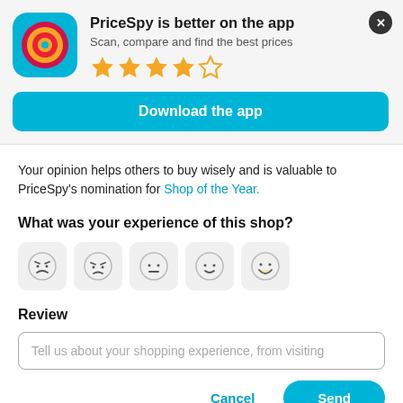[Figure (logo): PriceSpy app icon - circular target/eye design with blue background, red and yellow rings]
PriceSpy is better on the app
Scan, compare and find the best prices
[Figure (other): 4.5 star rating - four filled gold stars and one empty star]
Download the app
Your opinion helps others to buy wisely and is valuable to PriceSpy's nomination for Shop of the Year.
What was your experience of this shop?
[Figure (other): Five emoji face buttons: angry, slightly frowning, neutral, slightly smiling, big grin]
Review
Tell us about your shopping experience, from visiting
Cancel
Send